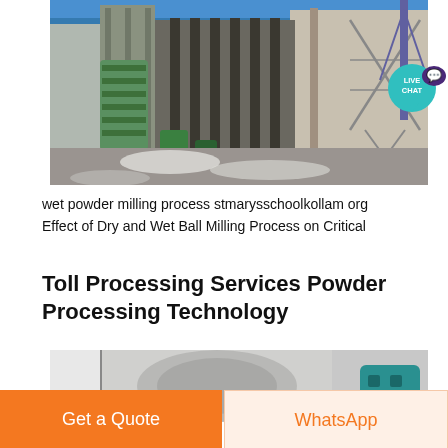[Figure (photo): Industrial facility with large steel structures, scaffolding, blue conveyor/bridge structures overhead, green industrial equipment on left, muddy/snowy ground below]
wet powder milling process stmarysschoolkollam org
Effect of Dry and Wet Ball Milling Process on Critical
Toll Processing Services Powder Processing Technology
[Figure (photo): Partial view of industrial powder processing equipment, grey/white machinery interior]
Get a Quote
WhatsApp